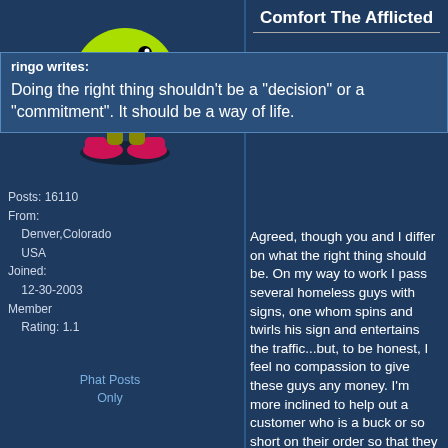Comfort The Afflicted
[Figure (illustration): Pac-Man character illustration - green Pac-Man figure with orange hands and pink/red shoes standing on a dark shadow]
Posts: 16110
From:
    Denver,Colorado
    USA
Joined:
    12-30-2003
Member
    Rating: 1.1
Phat Posts
Only
ringo writes:
Doing the right thing shouldn't be a "decision" or a "commitment". It should be a way of life.
Agreed, though you and I differ on what the right thing should be. On my way to work I pass several homeless guys with signs, one whom spins and twirls his sign and entertains the traffic...but, to be honest, I feel no compassion to give these guys any money. I'm more inclined to help out a customer who is a buck or so short on their order so that they won't have to put any food back.
I have no problem with helping others, however. Perhaps the homeless guys are different in your town...they certainly don't strike any chord of sympathy with me. Some of them we know even steal from our store.